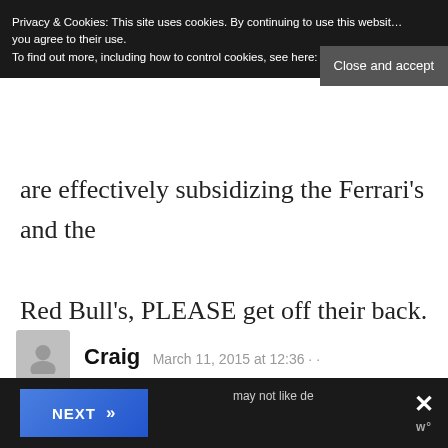Privacy & Cookies: This site uses cookies. By continuing to use this website, you agree to their use.
To find out more, including how to control cookies, see here: Cookie Policy
Close and accept
are effectively subsidizing the Ferrari’s and the Red Bull’s, PLEASE get off their back.
Craig   March 11, 2015 at 12:36 ··
Reply →
Pauper or prince – you still have to
NEXT »
may not like de law. The law may not be just or fair or